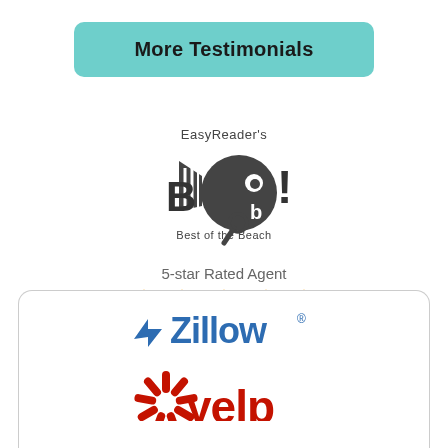More Testimonials
[Figure (logo): EasyReader's Best of the Beach (BOB!) award logo in dark gray]
5-star Rated Agent
[Figure (logo): Five gold star rating icons]
[Figure (logo): Zillow logo in dark gray with zigzag Z icon]
[Figure (logo): Yelp logo partially visible at bottom]